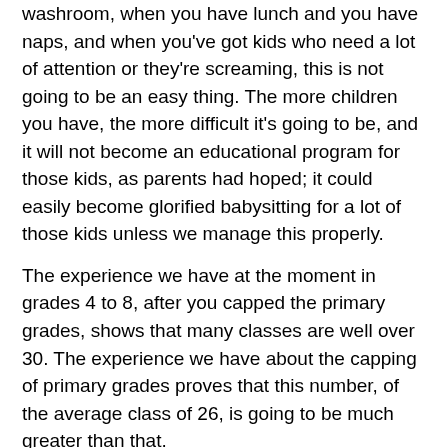washroom, when you have lunch and you have naps, and when you've got kids who need a lot of attention or they're screaming, this is not going to be an easy thing. The more children you have, the more difficult it's going to be, and it will not become an educational program for those kids, as parents had hoped; it could easily become glorified babysitting for a lot of those kids unless we manage this properly.
The experience we have at the moment in grades 4 to 8, after you capped the primary grades, shows that many classes are well over 30. The experience we have about the capping of primary grades proves that this number, of the average class of 26, is going to be much greater than that.
We are profoundly nervous and worried, and I wait to hear what Leeanna has to say.
The Chair (Mr. Shafiq Qaadri): Ms. Pendergast?
Ms. Leeanna Pendergast: Rosario, I think I'd start by saying